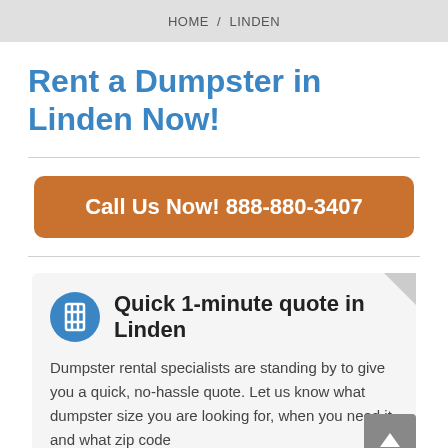HOME / LINDEN
Rent a Dumpster in Linden Now!
Call Us Now! 888-880-3407
Quick 1-minute quote in Linden
Dumpster rental specialists are standing by to give you a quick, no-hassle quote. Let us know what dumpster size you are looking for, when you need it, and what zip code